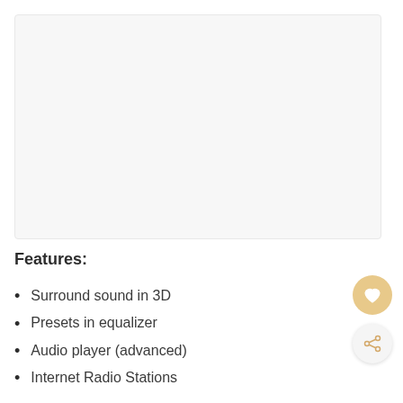[Figure (other): Light gray placeholder image area, product photo region]
Features:
Surround sound in 3D
Presets in equalizer
Audio player (advanced)
Internet Radio Stations